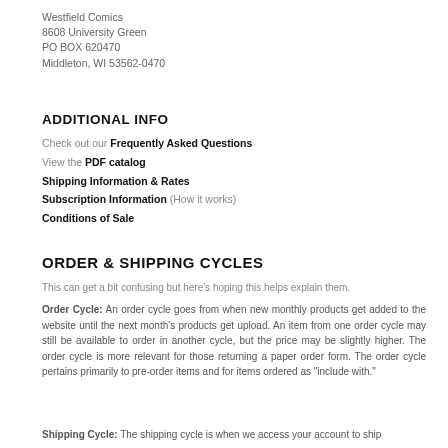Westfield Comics
8608 University Green
PO BOX 620470
Middleton, WI 53562-0470
ADDITIONAL INFO
Check out our Frequently Asked Questions
View the PDF catalog
Shipping Information & Rates
Subscription Information (How it works)
Conditions of Sale
ORDER & SHIPPING CYCLES
This can get a bit confusing but here's hoping this helps explain them.
Order Cycle: An order cycle goes from when new monthly products get added to the website until the next month's products get upload. An item from one order cycle may still be available to order in another cycle, but the price may be slightly higher. The order cycle is more relevant for those returning a paper order form. The order cycle pertains primarily to pre-order items and for items ordered as "include with."
Shipping Cycle: The shipping cycle is when we access your account to ship